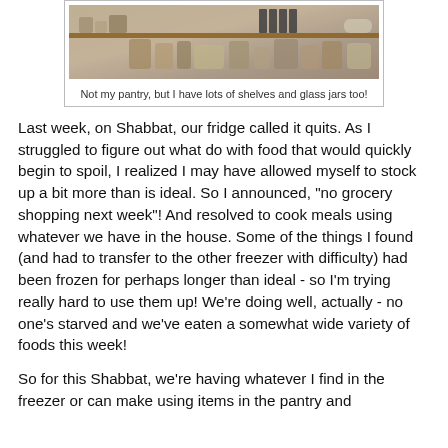[Figure (photo): Kitchen pantry shelves with glass jars, bottles, and various kitchenware displayed on wooden shelves against white tile wall.]
Not my pantry, but I have lots of shelves and glass jars too!
Last week, on Shabbat, our fridge called it quits. As I struggled to figure out what do with food that would quickly begin to spoil, I realized I may have allowed myself to stock up a bit more than is ideal. So I announced, "no grocery shopping next week"! And resolved to cook meals using whatever we have in the house. Some of the things I found (and had to transfer to the other freezer with difficulty) had been frozen for perhaps longer than ideal - so I'm trying really hard to use them up! We're doing well, actually - no one's starved and we've eaten a somewhat wide variety of foods this week!
So for this Shabbat, we're having whatever I find in the freezer or can make using items in the pantry and